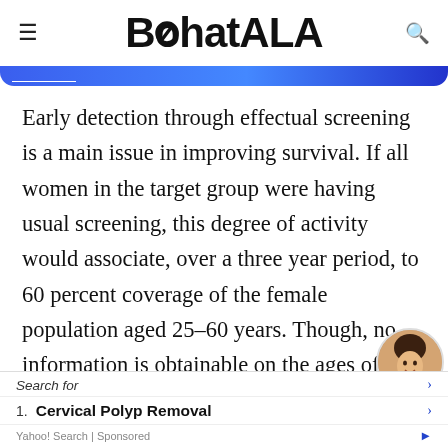BohatALA
Early detection through effectual screening is a main issue in improving survival. If all women in the target group were having usual screening, this degree of activity would associate, over a three year period, to 60 percent coverage of the female population aged 25–60 years. Though, no information is obtainable on the ages of women screened, nor on their screening history, so women of the wrong age, or those with current negative tests, might make up a noteworthy quantity
Search for
1. Cervical Polyp Removal
Yahoo! Search | Sponsored